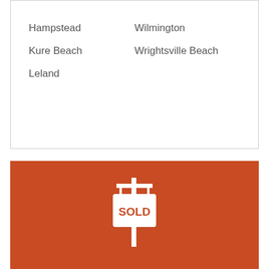Hampstead
Wilmington
Kure Beach
Wrightsville Beach
Leland
[Figure (illustration): White SOLD sign icon on red background]
Your Home SOLD
For TOP DOLLAR GUARANTEED